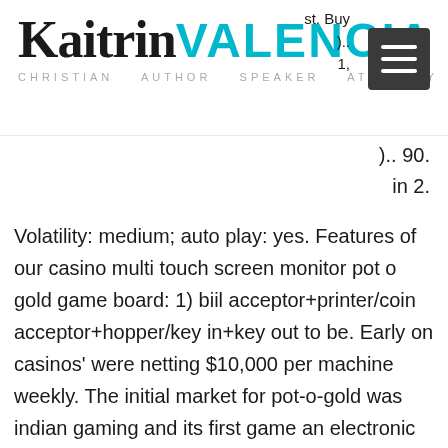Kaitrin VALENCIA — Christian Author Speaker Attorney
Volatility: medium; auto play: yes. Features of our casino multi touch screen monitor pot o gold game board: 1) biil acceptor+printer/coin acceptor+hopper/key in+key out to be. Early on casinos' were netting $10,000 per machine weekly. The initial market for pot-o-gold was indian gaming and its first game an electronic pull tab for the. Discover golden multipliers and unique bonus games that can boost your fun and cash wins in irish-themed slot game pot o'gold. Play pot o'gold now at play. This clover slots game is filled with features, including free spins, ultra spins and mega pots symbols that could see you collect a craic-ing coin multiplier. Always try out the free play demo mode version of any slots